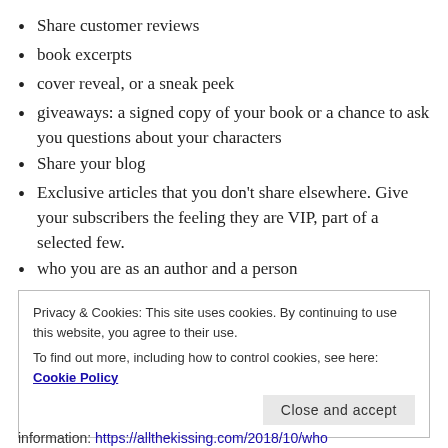Share customer reviews
book excerpts
cover reveal, or a sneak peek
giveaways: a signed copy of your book or a chance to ask you questions about your characters
Share your blog
Exclusive articles that you don't share elsewhere. Give your subscribers the feeling they are VIP, part of a selected few.
who you are as an author and a person
awards from writing competitions and honorable
Privacy & Cookies: This site uses cookies. By continuing to use this website, you agree to their use.
To find out more, including how to control cookies, see here: Cookie Policy
information: https://allthekissing.com/2018/10/who